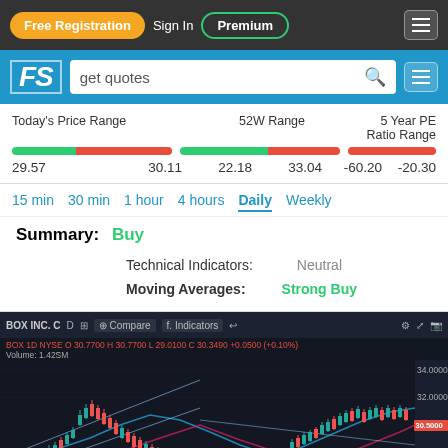Free Registration | Sign In | Premium
[Figure (screenshot): Financial Signals logo bar with search box 'get quotes']
Today's Price Range  52W Range  5 Year PE Ratio Range
29.57  30.11  22.18  33.04  -60.20  -20.30
15 min  30 min  1 hour  4 hours  Daily  Weekly
Summary: Buy
Technical Indicators: Neutral
Moving Averages: Strong Buy
[Figure (screenshot): BOX INC candlestick chart with EMA 50 and EMA 200 lines, daily timeframe on NYSE, showing price range approximately 24-34, with Inverse Channel Up annotation]